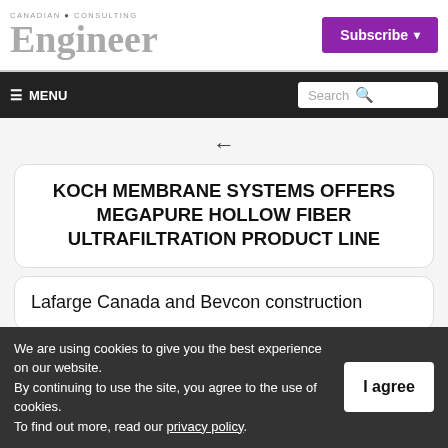CANADIAN CONSULTING Engineer | Subscribe
≡ MENU | Search
KOCH MEMBRANE SYSTEMS OFFERS MEGAPURE HOLLOW FIBER ULTRAFILTRATION PRODUCT LINE
Lafarge Canada and Bevcon construction
We are using cookies to give you the best experience on our website. By continuing to use the site, you agree to the use of cookies. To find out more, read our privacy policy.